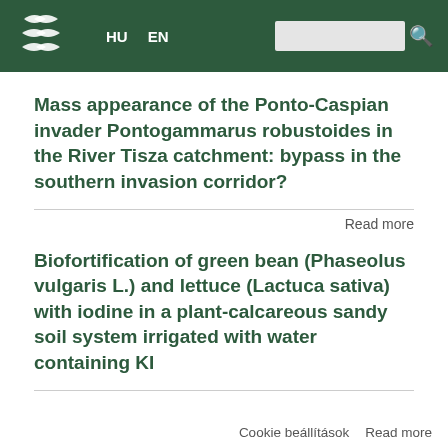HU EN
Mass appearance of the Ponto-Caspian invader Pontogammarus robustoides in the River Tisza catchment: bypass in the southern invasion corridor?
Read more
Biofortification of green bean (Phaseolus vulgaris L.) and lettuce (Lactuca sativa) with iodine in a plant-calcareous sandy soil system irrigated with water containing KI
Cookie beállítások   Read more